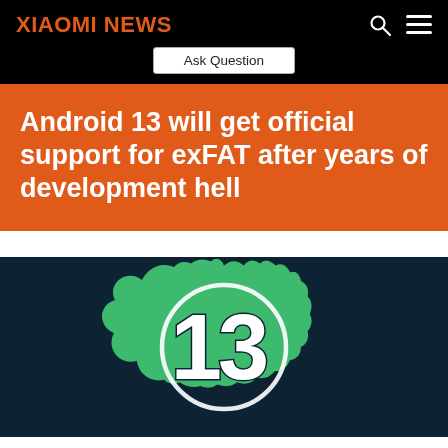XIAOMI NEWS
Ask Question
Android 13 will get official support for exFAT after years of development hell
[Figure (illustration): Android 13 logo — a green scalloped badge with the number 13 in white on a dark navy background]